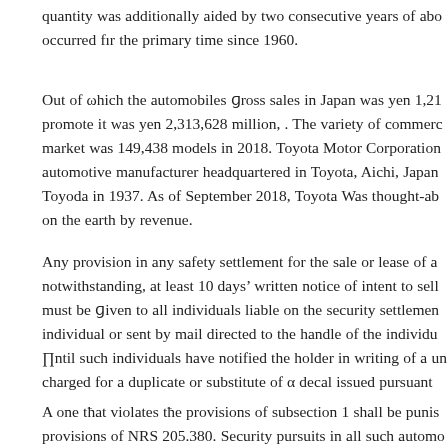quantity was additionally aided by two consecutive years of abo... occurred flr the primary time since 1960.
Out of ωhich the automobiles Gross sales in Japan was yen 1,21... promote it was yen 2,313,628 million, . The variety of commerc... market was 149,438 models in 2018. Toyota Motor Corporation... automotive manufacturer headquartered in Toyota, Aichi, Japan... Toyoda in 1937. As of September 2018, Toyota Was thought-ab... on the earth By revenue.
Any provision in any safety settlement for the sale or lease of a... notwithstanding, at least 10 days' written notice of intent to sell... must be Given to all individuals liable on the security settlement... individual or sent by mail directed to the handle of the individu... ∏ntil such individuals have notified the holder in writing of a un... charged for a duplicate or substitute of α decal issued pursuant...
A one that violates the provisions of subsection 1 shall be punis... provisions of NRS 205.380. Security pursuits in all such automo...